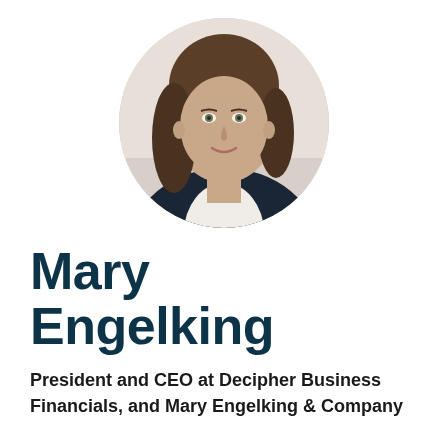[Figure (photo): Circular headshot portrait of Mary Engelking, a woman with long brown hair, wearing a dark blazer over a white shirt, smiling, against a light background.]
Mary Engelking
President and CEO at Decipher Business Financials, and Mary Engelking & Company